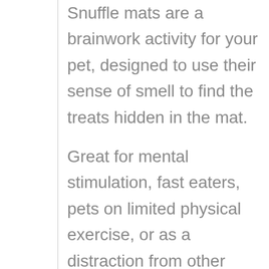Snuffle mats are a brainwork activity for your pet, designed to use their sense of smell to find the treats hidden in the mat.
Great for mental stimulation, fast eaters, pets on limited physical exercise, or as a distraction from other undesirable behaviour. Teach your pet to use their nose rather than their paws.
~ Hand made to order from new unused heavy-duty rubber mat & double knotted multi print polar